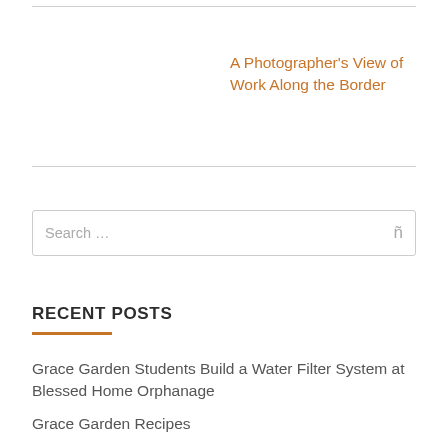A Photographer's View of Work Along the Border
Search …
RECENT POSTS
Grace Garden Students Build a Water Filter System at Blessed Home Orphanage
Grace Garden Recipes
Sustainable Living – The Argument for Self-